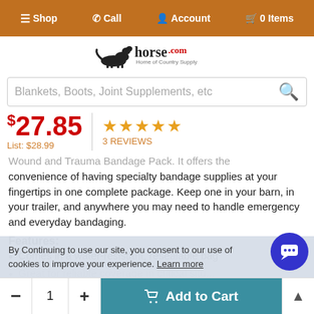Shop  Call  Account  0 Items
[Figure (logo): horse.com Home of Country Supply logo with horse silhouette]
Blankets, Boots, Joint Supplements, etc (search bar placeholder)
$27.85  List: $28.99  ★★★★★  3 REVIEWS
Wound and Trauma Bandage Pack. It offers the convenience of having specialty bandage supplies at your fingertips in one complete package. Keep one in your barn, in your trailer, and anywhere you may need to handle emergency and everyday bandaging.
Features:
Comes in a water-resistant, resealable bag
(partially visible second list item)
By Continuing to use our site, you consent to our use of cookies to improve your experience. Learn more
- 1 +  Add to Cart  ▲